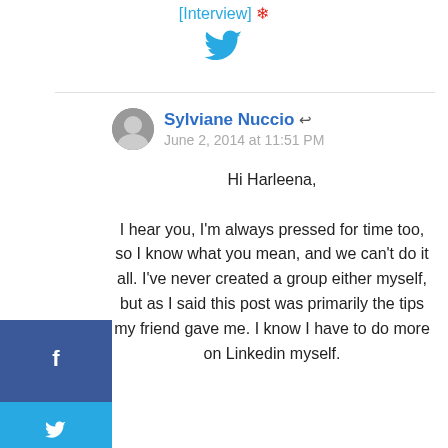[Interview]
[Figure (logo): Twitter bird icon in teal/cyan color]
Sylviane Nuccio ↩
June 2, 2014 at 11:51 PM
Hi Harleena,

I hear you, I'm always pressed for time too, so I know what you mean, and we can't do it all. I've never created a group either myself, but as I said this post was primarily the tips my friend gave me. I know I have to do more on Linkedin myself.